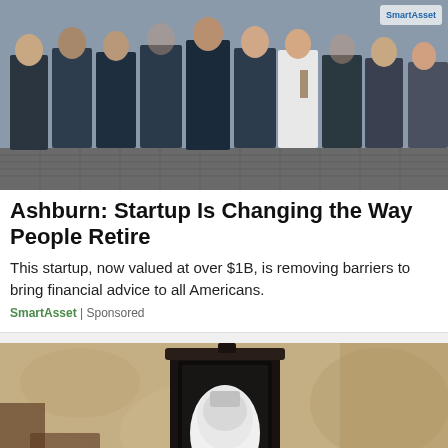[Figure (photo): Group photo of about 10 people standing together outdoors on a cobblestone street, most wearing dark navy/blue t-shirts, one person in white.]
Ashburn: Startup Is Changing the Way People Retire
This startup, now valued at over $1B, is removing barriers to bring financial advice to all Americans.
SmartAsset | Sponsored
[Figure (photo): Close-up photo of a wall-mounted outdoor lantern with a white bulb/device inside, mounted on a textured beige stucco wall.]